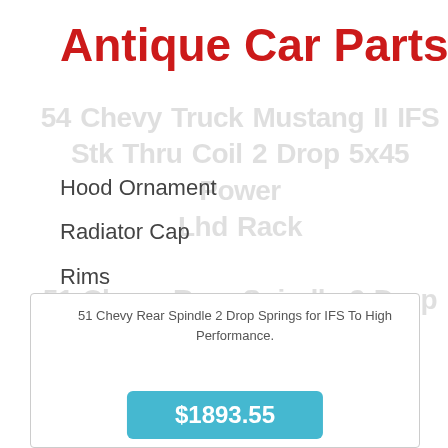Antique Car Parts
Hood Ornament
Radiator Cap
Rims
Dash
Seats
Lights
Chevy Truck Mustang II IFS Stk Thru Coil 2 Drop 5x45 Power Lhd Rack... Chevy Rear Spindle 2 Drop Springs for IFS To High Performance.
$1893.55